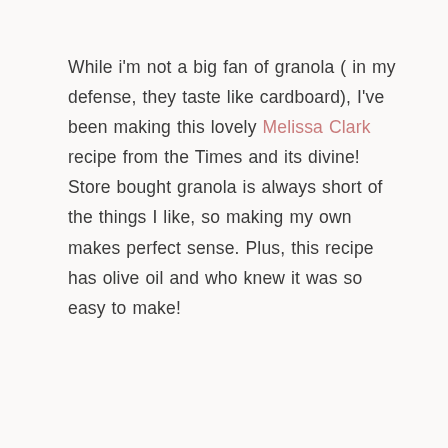While i'm not a big fan of granola ( in my defense, they taste like cardboard), I've been making this lovely Melissa Clark recipe from the Times and its divine! Store bought granola is always short of the things I like, so making my own makes perfect sense. Plus, this recipe has olive oil and who knew it was so easy to make!